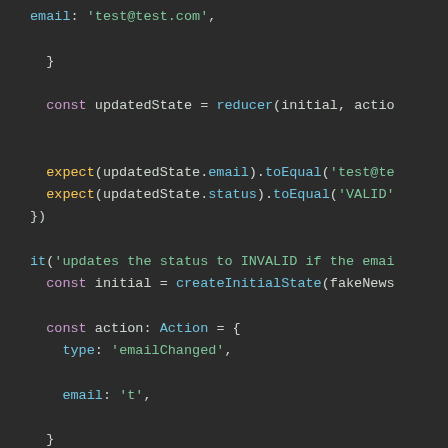[Figure (screenshot): Code editor screenshot showing JavaScript/TypeScript test code with dark theme. Code includes email property assignment, const declarations for updatedState and initial, expect assertions, and an it() test block for INVALID status check with action object containing type 'emailChanged' and email 't'.]